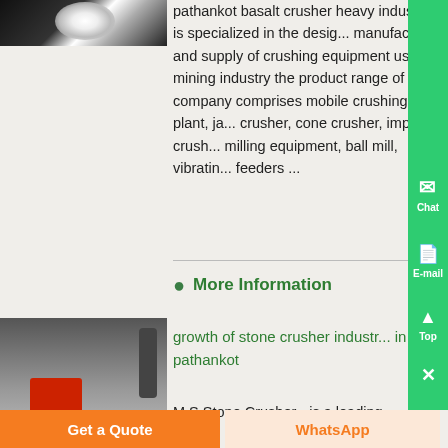[Figure (photo): Bright light/welding flash image against dark background]
pathankot basalt crusher heavy industry is specialized in the design, manufacture and supply of crushing equipment used in mining industry the product range of our company comprises mobile crushing plant, jaw crusher, cone crusher, impact crusher, milling equipment, ball mill, vibrating feeders ...
More Information
[Figure (photo): Industrial stone crusher machinery with red roller component]
growth of stone crusher industry in pathankot
M S Stone Crusher - is a leading